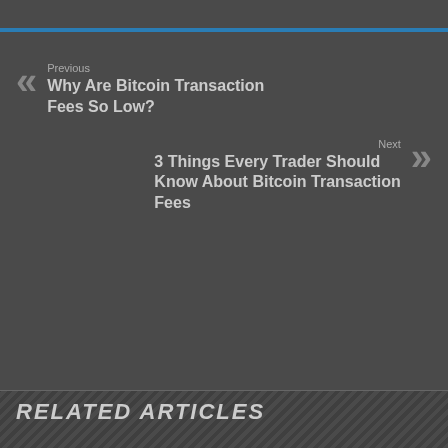Previous
Why Are Bitcoin Transaction Fees So Low?
Next
3 Things Every Trader Should Know About Bitcoin Transaction Fees
RELATED ARTICLES